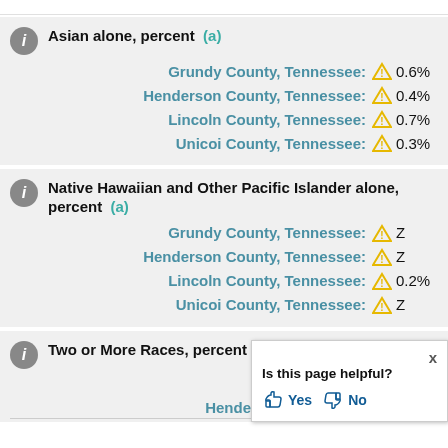Asian alone, percent (a)
| County | Value |
| --- | --- |
| Grundy County, Tennessee: | 0.6% |
| Henderson County, Tennessee: | 0.4% |
| Lincoln County, Tennessee: | 0.7% |
| Unicoi County, Tennessee: | 0.3% |
Native Hawaiian and Other Pacific Islander alone, percent (a)
| County | Value |
| --- | --- |
| Grundy County, Tennessee: | Z |
| Henderson County, Tennessee: | Z |
| Lincoln County, Tennessee: | 0.2% |
| Unicoi County, Tennessee: | Z |
Two or More Races, percent
Grundy County, T...
Henderson County, Tennessee...
[Figure (screenshot): Popup dialog asking 'Is this page helpful?' with Yes and No buttons and an X close button]